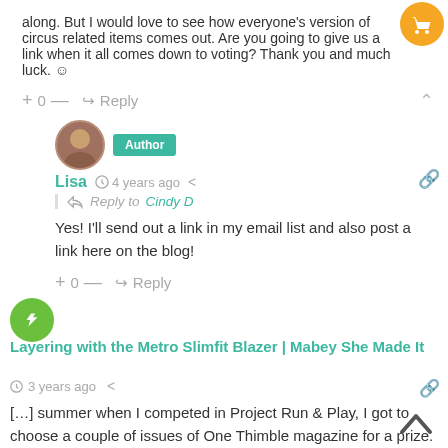along. But I would love to see how everyone's version of circus related items comes out. Are you going to give us a link when it all comes down to voting? Thank you and much luck. ☺
+ 0 — ↪ Reply
Author
Lisa  4 years ago  < share
Reply to Cindy D
Yes! I'll send out a link in my email list and also post a link here on the blog!
+ 0 — ↪ Reply
Layering with the Metro Slimfit Blazer | Mabey She Made It
3 years ago
[…] summer when I competed in Project Run & Play, I got to choose a couple of issues of One Thimble magazine for a prize.